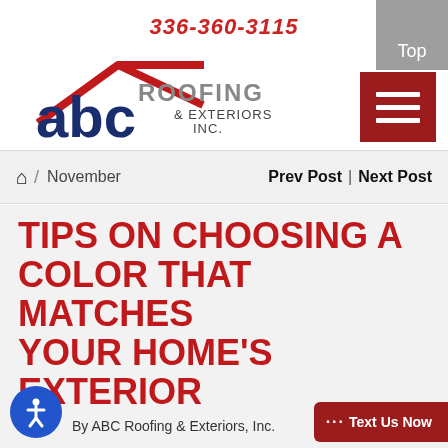336-360-3115
[Figure (logo): ABC Roofing & Exteriors Inc. logo with red roof outline and blue 'abc' text]
Top
[Figure (other): Red hamburger menu icon with three white horizontal bars]
Home / November   Prev Post | Next Post
TIPS ON CHOOSING A COLOR THAT MATCHES YOUR HOME'S EXTERIOR
By ABC Roofing & Exteriors, Inc.